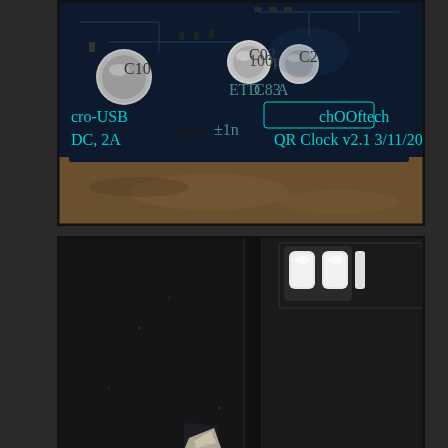[Figure (photo): Close-up photograph of a circuit board (PCB) with electronic components including capacitors and traces. The board has cyan text markings reading 'chOOftech' in a rectangular border, and below it 'QR Clock v2.1 3/11/2013'. On the left side partial text reads 'cro-USB' and 'DC, 2A'. The board sits on a brown paper surface.]
[Figure (photo): Close-up photograph showing a corner/edge detail of a dark electronic device or enclosure. The bottom-left shows a dark matte surface with a chip or damage at the corner. The upper-right portion shows what appears to be white/light colored buttons or keys on a dark bezel, suggesting a display or keyboard interface.]